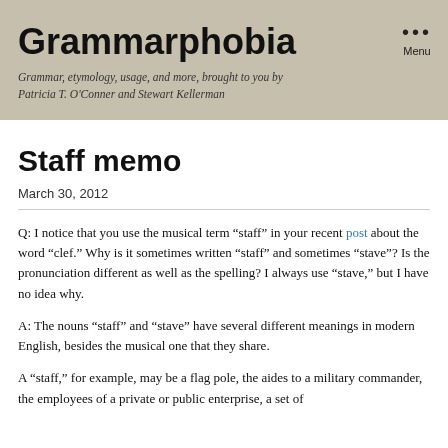Grammarphobia
Grammar, etymology, usage, and more, brought to you by Patricia T. O'Conner and Stewart Kellerman
Staff memo
March 30, 2012
Q: I notice that you use the musical term “staff” in your recent post about the word “clef.” Why is it sometimes written “staff” and sometimes “stave”? Is the pronunciation different as well as the spelling? I always use “stave,” but I have no idea why.
A: The nouns “staff” and “stave” have several different meanings in modern English, besides the musical one that they share.
A “staff,” for example, may be a flag pole, the aides to a military commander, the employees of a private or public enterprise, a set of